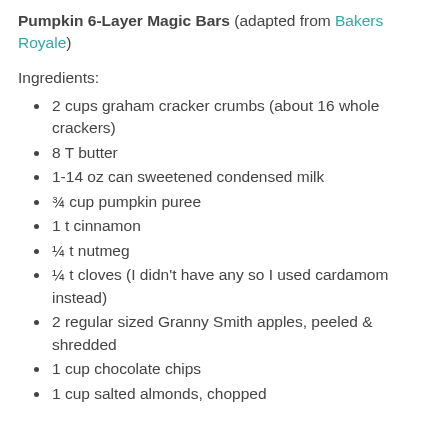Pumpkin 6-Layer Magic Bars (adapted from Bakers Royale)
Ingredients:
2 cups graham cracker crumbs (about 16 whole crackers)
8 T butter
1-14 oz can sweetened condensed milk
¾ cup pumpkin puree
1 t cinnamon
¼ t nutmeg
¼ t cloves (I didn't have any so I used cardamom instead)
2 regular sized Granny Smith apples, peeled & shredded
1 cup chocolate chips
1 cup salted almonds, chopped